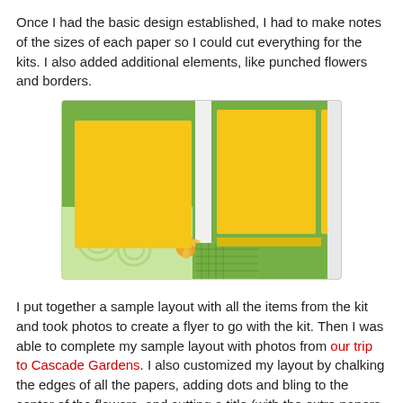Once I had the basic design established, I had to make notes of the sizes of each paper so I could cut everything for the kits. I also added additional elements, like punched flowers and borders.
[Figure (photo): A scrapbook layout showing green patterned paper and yellow cardstock panels arranged on a flat surface, with decorative elements including a flower embellishment in the corner.]
I put together a sample layout with all the items from the kit and took photos to create a flyer to go with the kit. Then I was able to complete my sample layout with photos from our trip to Cascade Gardens. I also customized my layout by chalking the edges of all the papers, adding dots and bling to the center of the flowers, and cutting a title (with the extra papers included in the kit) with my Cricut.